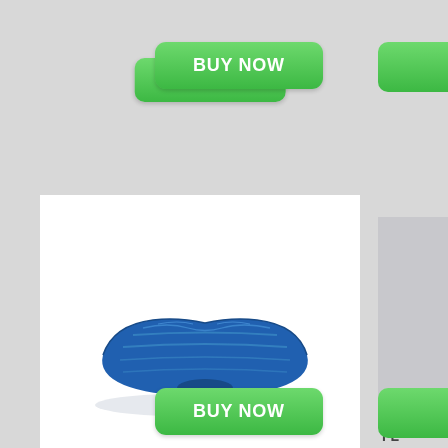[Figure (other): Green BUY NOW button at top center]
[Figure (photo): Photo of Fitter First Soft Board Advanced - a blue foam balance board with wavy texture]
FITTER FIRST SOFT BOARD - ADVANCED
Larger surface area allows for a variety of
[Figure (other): Green BUY NOW button at bottom center]
[Figure (other): Partial green BUY NOW button at top right (cropped)]
[Figure (photo): Partial product image at right (cropped)]
FL
Adju